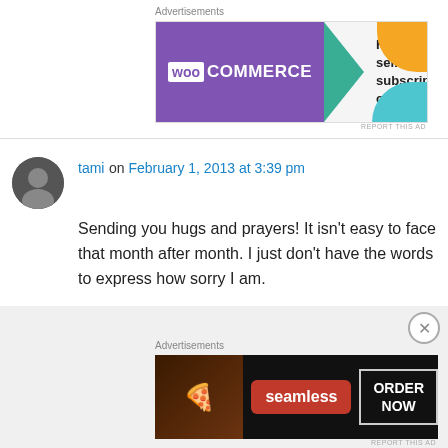[Figure (other): WooCommerce advertisement banner: 'How to start selling subscriptions online']
tami on February 1, 2013 at 3:39 pm
Sending you hugs and prayers! It isn't easy to face that month after month. I just don't have the words to express how sorry I am.
Like
Reply
[Figure (other): Seamless food delivery advertisement banner with pizza image and 'ORDER NOW' button]